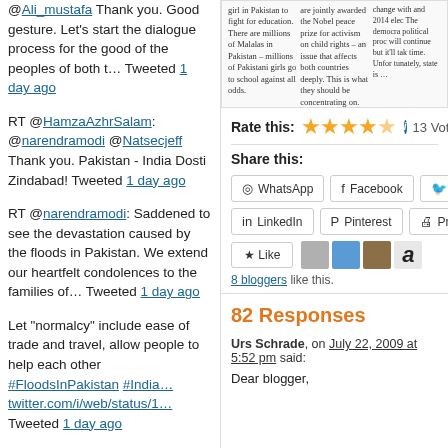@Ali_mustafa Thank you. Good gesture. Let's start the dialogue process for the good of the peoples of both t… Tweeted 1 day ago
RT @HamzaAzhrSalam: @narendramodi @Natsecjeff Thank you. Pakistan - India Dosti Zindabad! Tweeted 1 day ago
RT @narendramodi: Saddened to see the devastation caused by the floods in Pakistan. We extend our heartfelt condolences to the families of… Tweeted 1 day ago
Let "normalcy" include ease of trade and travel, allow people to help each other #FloodsInPakistan #India… twitter.com/i/web/status/1… Tweeted 1 day ago
RT @boonasarwar: With…
[Figure (screenshot): Newspaper article snippet with three columns of text and caption 'Interview in The Times of India, b']
Rate this: 13 Votes
Share this:
WhatsApp  Facebook  Tw…  LinkedIn  Pinterest  Print
Like  8 bloggers like this.
82 Responses
Urs Schrade, on July 22, 2009 at 5:52 pm said:
Dear blogger,